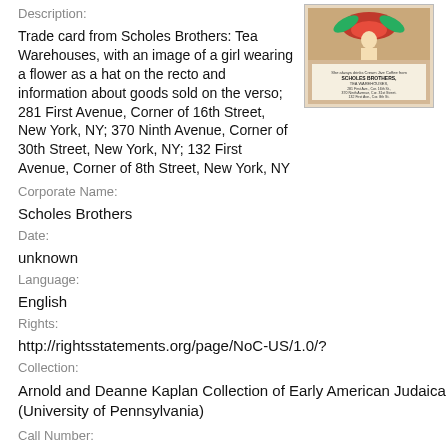Description:
Trade card from Scholes Brothers: Tea Warehouses, with an image of a girl wearing a flower as a hat on the recto and information about goods sold on the verso; 281 First Avenue, Corner of 16th Street, New York, NY; 370 Ninth Avenue, Corner of 30th Street, New York, NY; 132 First Avenue, Corner of 8th Street, New York, NY
[Figure (photo): Thumbnail image of a trade card showing a girl wearing a flower as a hat on the front, with text about Scholes Brothers Tea Warehouses on the back]
Corporate Name:
Scholes Brothers
Date:
unknown
Language:
English
Rights:
http://rightsstatements.org/page/NoC-US/1.0/?
Collection:
Arnold and Deanne Kaplan Collection of Early American Judaica (University of Pennsylvania)
Call Number:
Arc.MS.56